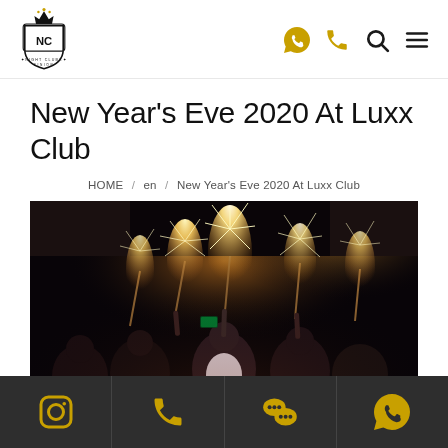Night Clubs - NC logo with navigation icons (WhatsApp, phone, search, menu)
New Year's Eve 2020 At Luxx Club
HOME / en / New Year's Eve 2020 At Luxx Club
[Figure (photo): Night club scene with people holding sparklers and bottle service, dark moody lighting with bright orange-yellow sparks]
Footer bar with Instagram, phone, WeChat, and WhatsApp icons in gold/yellow on dark background